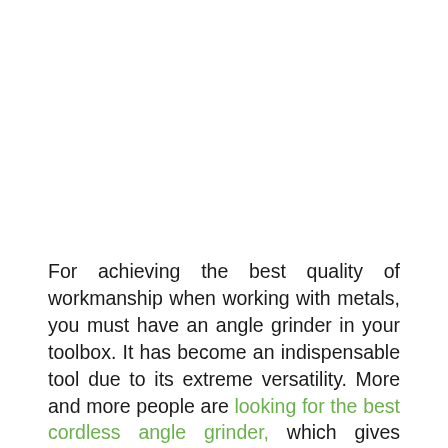For achieving the best quality of workmanship when working with metals, you must have an angle grinder in your toolbox. It has become an indispensable tool due to its extreme versatility. More and more people are looking for the best cordless angle grinder, which gives immense comfort in using the tool to perform any grinding or cutting operations besides doing precision finishing work that involves sanding